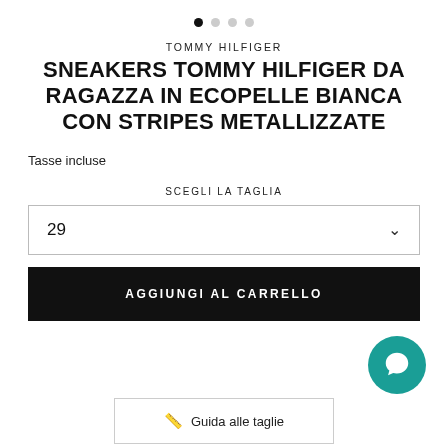[Figure (other): Carousel pagination dots: one filled black dot and three grey dots]
TOMMY HILFIGER
SNEAKERS TOMMY HILFIGER DA RAGAZZA IN ECOPELLE BIANCA CON STRIPES METALLIZZATE
Tasse incluse
SCEGLI LA TAGLIA
29
AGGIUNGI AL CARRELLO
[Figure (other): Teal circular chat/message button icon]
Guida alle taglie